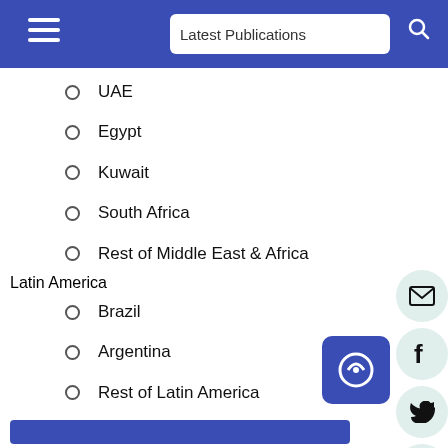Latest Publications
UAE
Egypt
Kuwait
South Africa
Rest of Middle East & Africa
Latin America
Brazil
Argentina
Rest of Latin America